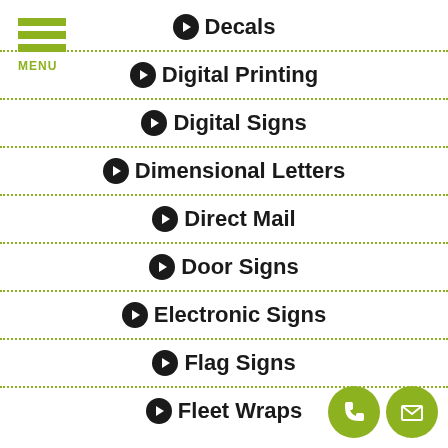[Figure (other): Hamburger menu icon with three green horizontal bars and MENU label]
Decals
Digital Printing
Digital Signs
Dimensional Letters
Direct Mail
Door Signs
Electronic Signs
Flag Signs
Fleet Wraps
[Figure (other): Two circular green contact buttons: phone and email icons, bottom right corner]